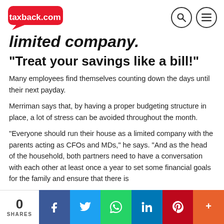taxback.com
limited company.
"Treat your savings like a bill!"
Many employees find themselves counting down the days until their next payday.
Merriman says that, by having a proper budgeting structure in place, a lot of stress can be avoided throughout the month.
"Everyone should run their house as a limited company with the parents acting as CFOs and MDs," he says. "And as the head of the household, both partners need to have a conversation with each other at least once a year to set some financial goals for the family and ensure that there is
0 SHARES